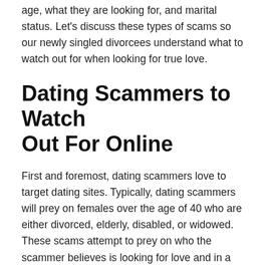age, what they are looking for, and marital status. Let's discuss these types of scams so our newly singled divorcees understand what to watch out for when looking for true love.
Dating Scammers to Watch Out For Online
First and foremost, dating scammers love to target dating sites. Typically, dating scammers will prey on females over the age of 40 who are either divorced, elderly, disabled, or widowed. These scams attempt to prey on who the scammer believes is looking for love and in a distressed state of mind. The current top scams being conducted against recently divorced females are: